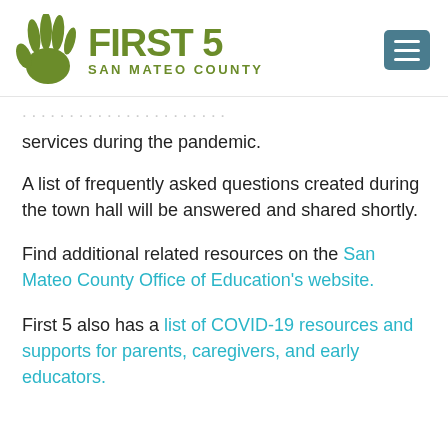[Figure (logo): First 5 San Mateo County logo with hand icon and teal hamburger menu button]
services during the pandemic.
A list of frequently asked questions created during the town hall will be answered and shared shortly.
Find additional related resources on the San Mateo County Office of Education's website.
First 5 also has a list of COVID-19 resources and supports for parents, caregivers, and early educators.